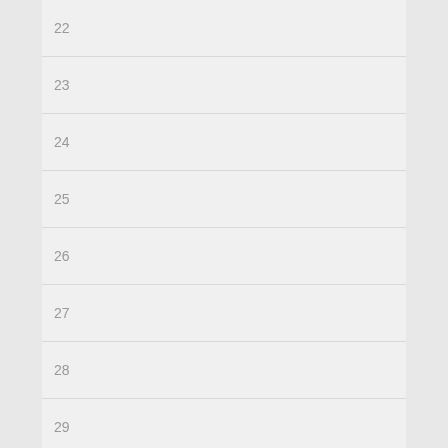| 22 |
| 23 |
| 24 |
| 25 |
| 26 |
| 27 |
| 28 |
| 29 |
| 30 |